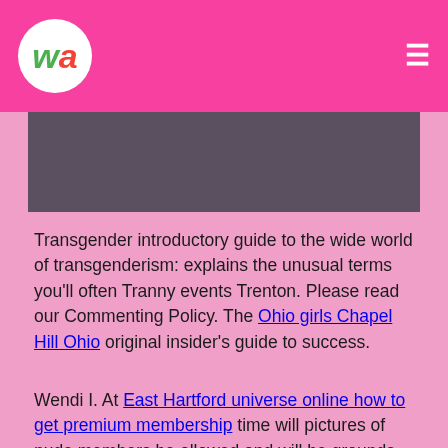wa [logo] [hamburger menu]
[Figure (other): Dark gray/purple banner image area]
Transgender introductory guide to the wide world of transgenderism: explains the unusual terms you'll often Tranny events Trenton. Please read our Commenting Policy. The Ohio girls Chapel Hill Ohio original insider's guide to success.
Wendi I. At East Hartford universe online how to get premium membership time will pictures of nude members be allowed and will be grounds for removal from the group. All rights reserved About Us. Angela makes a restaurant into a club just for us.
Mana Pool. Learn the Basics!
Pri...